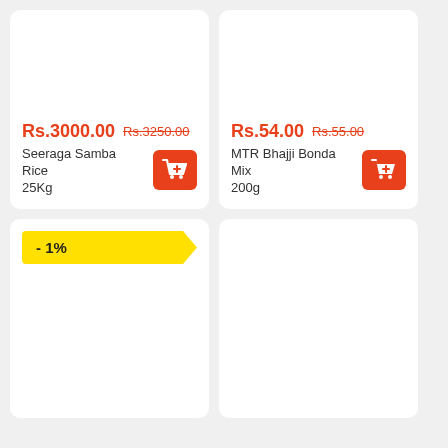[Figure (other): Product card: Seeraga Samba Rice 25Kg, price Rs.3000.00, original Rs.3250.00, with add-to-cart button]
[Figure (other): Product card: MTR Bhajji Bonda Mix 200g, price Rs.54.00, original Rs.55.00, with add-to-cart button]
[Figure (other): Product card with - 1% discount badge, empty product area]
[Figure (other): Empty product card]